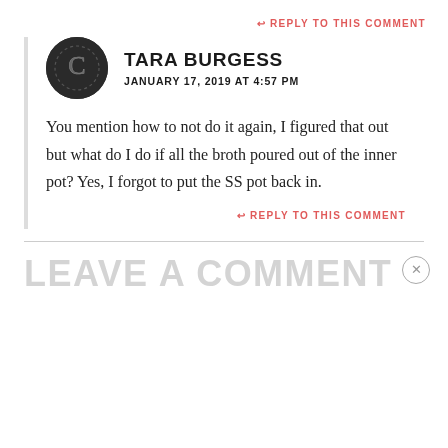↩ REPLY TO THIS COMMENT
TARA BURGESS
JANUARY 17, 2019 AT 4:57 PM
You mention how to not do it again, I figured that out but what do I do if all the broth poured out of the inner pot? Yes, I forgot to put the SS pot back in.
↩ REPLY TO THIS COMMENT
LEAVE A COMMENT